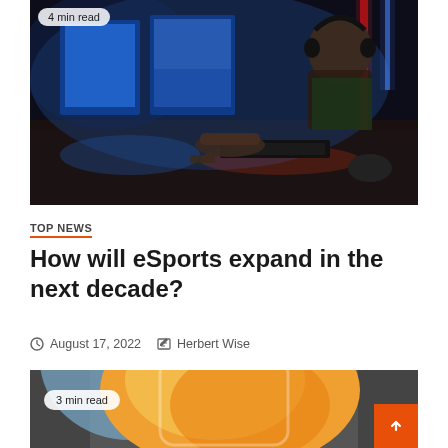[Figure (photo): Photo of esports players at computers with colorful lighting, blue and red neon, labeled '4 min read' badge in top-left corner]
TOP NEWS
How will eSports expand in the next decade?
August 17, 2022   Herbert Wise
[Figure (photo): Partial photo with orange/yellow gradient abstract background, labeled '3 min read' badge in left area. Orange back-to-top arrow button visible at right.]